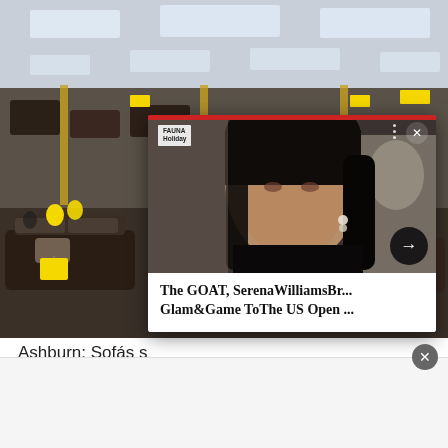[Figure (photo): Background photo of a furniture store showroom with rows of dark leather sofas, yellow price tags and balloons, bright ceiling lights]
[Figure (photo): Popup card overlay showing a woman (Serena Williams) with long dark hair, wearing jewelry, looking over shoulder. Red bar at top, logo in top-left corner, close X button, navigation arrow button, headline text below photo]
The GOAT, SerenaWilliamsBr... Glam&Game ToThe US Open ...
Ashburn: Sofás s
Sofá